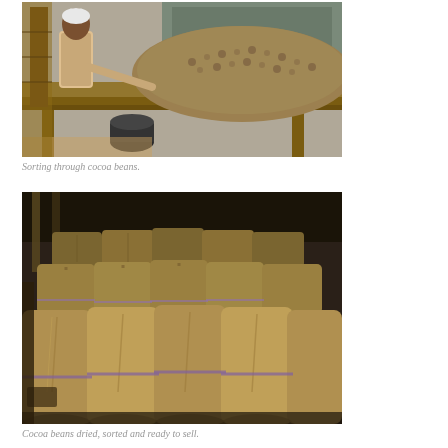[Figure (photo): A person sorting through a large pile of cocoa beans spread on a wooden table outdoors. A truck is visible in the background.]
Sorting through cocoa beans.
[Figure (photo): Rows of large burlap sacks filled with cocoa beans, stacked inside a dimly lit storage warehouse or facility.]
Cocoa beans dried, sorted and ready to sell.